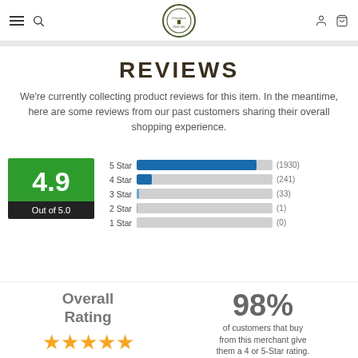Navigation header with hamburger menu, search icon, Fehrenbach logo, user icon, cart icon
REVIEWS
We're currently collecting product reviews for this item. In the meantime, here are some reviews from our past customers sharing their overall overall shopping experience.
[Figure (bar-chart): Star Rating Distribution]
Overall Rating
★★★★★
98%
of customers that buy from this merchant give them a 4 or 5-Star rating.